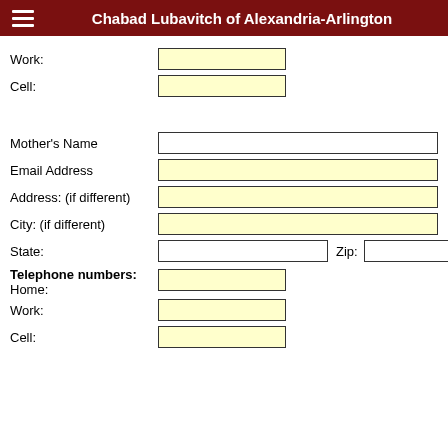Chabad Lubavitch of Alexandria-Arlington
Work:
Cell:
Mother's Name
Email Address
Address: (if different)
City:  (if different)
State:
Zip:
Telephone numbers: Home:
Work:
Cell: